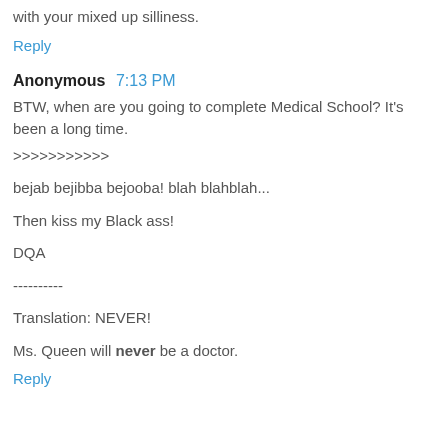with your mixed up silliness.
Reply
Anonymous  7:13 PM
BTW, when are you going to complete Medical School? It's been a long time.
>>>>>>>>>>>

bejab bejibba bejooba! blah blahblah...

Then kiss my Black ass!

DQA

----------

Translation: NEVER!

Ms. Queen will never be a doctor.
Reply